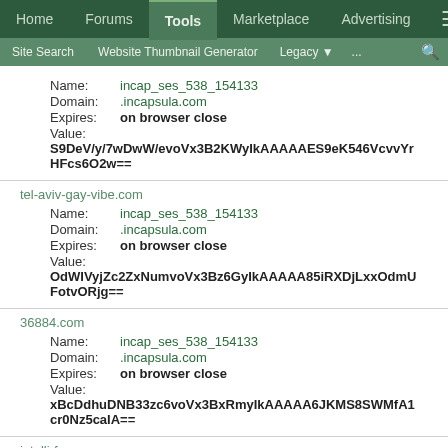Home | Forums | Tools | Marketplace | Advertising
Site Search | Website Thumbnail Generator | Legacy | ...
Name: incap_ses_538_154133
Domain: .incapsula.com
Expires: on browser close
Value: S9DeV/y/7wDwW/evoVx3B2KWyIkAAAAAES9eK546VcvvYrHFcs6O2w==
tel-aviv-gay-vibe.com
Name: incap_ses_538_154133
Domain: .incapsula.com
Expires: on browser close
Value: OdWIVyjZc2ZxNumvoVx3Bz6GyIkAAAAA85iRXDjLxxOdmUFotvORjg==
36884.com
Name: incap_ses_538_154133
Domain: .incapsula.com
Expires: on browser close
Value: xBcDdhuDNB33zc6voVx3BxRmyIkAAAAA6JKMS8SWMfA1cr0Nz5caIA==
intellirf.com
Name: incap_ses_538_154133